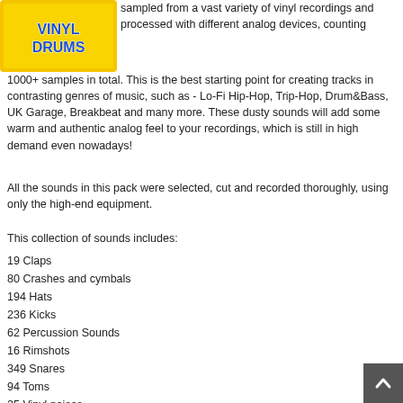[Figure (photo): Yellow album/product cover showing 'Vinyl Drums' text in stylized blue lettering on a yellow background]
sampled from a vast variety of vinyl recordings and processed with different analog devices, counting 1000+ samples in total. This is the best starting point for creating tracks in contrasting genres of music, such as - Lo-Fi Hip-Hop, Trip-Hop, Drum&Bass, UK Garage, Breakbeat and many more. These dusty sounds will add some warm and authentic analog feel to your recordings, which is still in high demand even nowadays!
All the sounds in this pack were selected, cut and recorded thoroughly, using only the high-end equipment.
This collection of sounds includes:
19 Claps
80 Crashes and cymbals
194 Hats
236 Kicks
62 Percussion Sounds
16 Rimshots
349 Snares
94 Toms
25 Vinyl noises